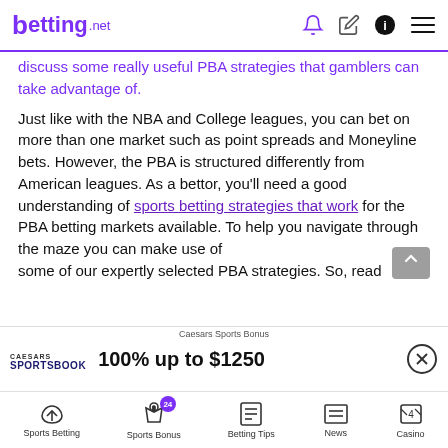betting.net
discuss some really useful PBA strategies that gamblers can take advantage of.
Just like with the NBA and College leagues, you can bet on more than one market such as point spreads and Moneyline bets. However, the PBA is structured differently from American leagues. As a bettor, you’ll need a good understanding of sports betting strategies that work for the PBA betting markets available. To help you navigate through the maze you can make use of some of our expertly selected PBA strategies. So, read
[Figure (screenshot): Caesars Sportsbook ad banner: 100% up to $1250 bonus offer with close button]
Sports Betting | Sports Bonus (24) | Betting Tips | News | Casino